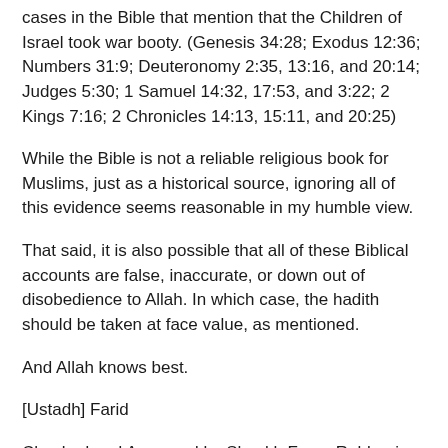cases in the Bible that mention that the Children of Israel took war booty. (Genesis 34:28; Exodus 12:36; Numbers 31:9; Deuteronomy 2:35, 13:16, and 20:14; Judges 5:30; 1 Samuel 14:32, 17:53, and 3:22; 2 Kings 7:16; 2 Chronicles 14:13, 15:11, and 20:25)
While the Bible is not a reliable religious book for Muslims, just as a historical source, ignoring all of this evidence seems reasonable in my humble view.
That said, it is also possible that all of these Biblical accounts are false, inaccurate, or down out of disobedience to Allah. In which case, the hadith should be taken at face value, as mentioned.
And Allah knows best.
[Ustadh] Farid
Checked and Approved by Shaykh Faraz Rabbani